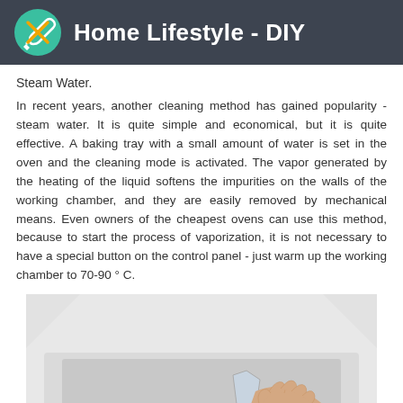Home Lifestyle - DIY
Steam Water.
In recent years, another cleaning method has gained popularity - steam water. It is quite simple and economical, but it is quite effective. A baking tray with a small amount of water is set in the oven and the cleaning mode is activated. The vapor generated by the heating of the liquid softens the impurities on the walls of the working chamber, and they are easily removed by mechanical means. Even owners of the cheapest ovens can use this method, because to start the process of vaporization, it is not necessary to have a special button on the control panel - just warm up the working chamber to 70-90 ° C.
[Figure (photo): A hand pouring water from a glass container into an oven, showing the steam cleaning process]